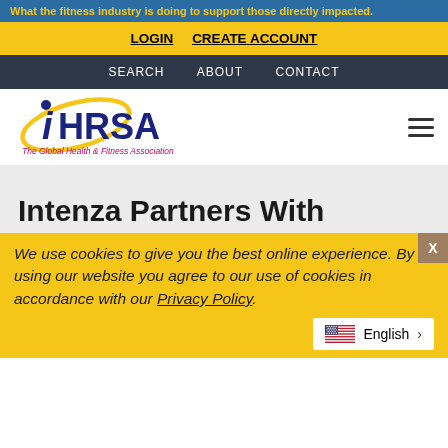What the fitness industry is doing to support those directly impacted.
LOGIN   CREATE ACCOUNT
SEARCH   ABOUT   CONTACT
[Figure (logo): IHRSA logo - The Global Health & Fitness Association]
Intenza Partners With
We use cookies to give you the best online experience. By using our website you agree to our use of cookies in accordance with our Privacy Policy.
English